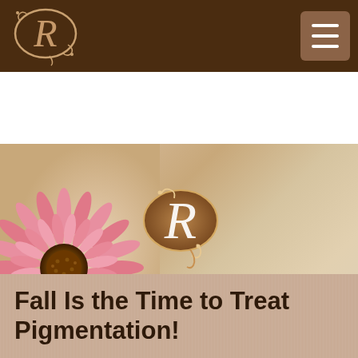Rocheford Plastic Surgery — navigation header with logo and menu button
[Figure (logo): Rocheford Plastic Surgery hero banner with decorative R logo in oval, practice name 'Rocheford Plastic Surgery', tagline 'a beautiful investment', and pink gerbera daisy on warm beige background]
Fall Is the Time to Treat Pigmentation!